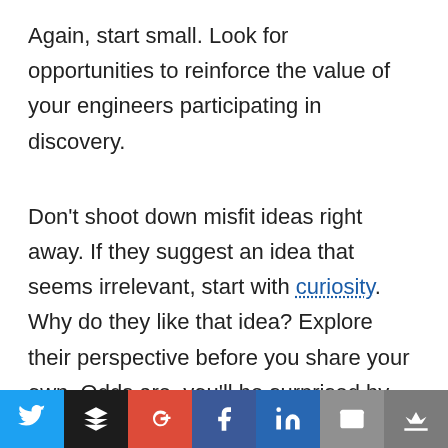Again, start small. Look for opportunities to reinforce the value of your engineers participating in discovery.
Don't shoot down misfit ideas right away. If they suggest an idea that seems irrelevant, start with curiosity. Why do they like that idea? Explore their perspective before you share your own. Odds are, you'll be surprised by what you learn.
Look for easy wins. What suggestions can you act on right away? For ideas that are less relevant or